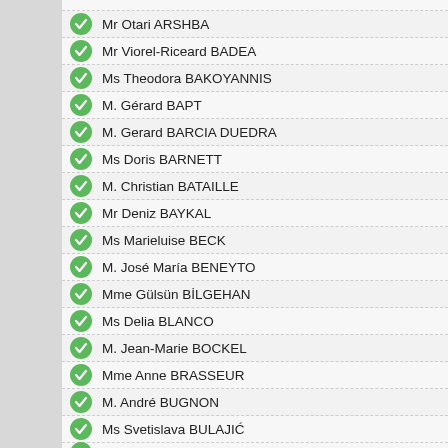Mr Otari ARSHBA
Mr Viorel-Riceard BADEA
Ms Theodora BAKOYANNIS
M. Gérard BAPT
M. Gerard BARCIA DUEDRA
Ms Doris BARNETT
M. Christian BATAILLE
Mr Deniz BAYKAL
Ms Marieluise BECK
M. José María BENEYTO
Mme Gülsün BİLGEHAN
Ms Delia BLANCO
M. Jean-Marie BOCKEL
Mme Anne BRASSEUR
M. André BUGNON
Ms Svetislava BULAJIĆ
Mr Irakli CHIKOVANI